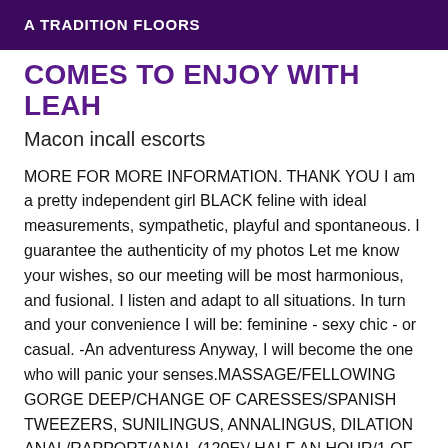A TRADITION FLOORS
COMES TO ENJOY WITH LEAH
Macon incall escorts
MORE FOR MORE INFORMATION. THANK YOU I am a pretty independent girl BLACK feline with ideal measurements, sympathetic, playful and spontaneous. I guarantee the authenticity of my photos Let me know your wishes, so our meeting will be most harmonious, and fusional. I listen and adapt to all situations. In turn and your convenience I will be: feminine - sexy chic - or casual. -An adventuress Anyway, I will become the one who will panic your senses.MASSAGE/FELLOWING GORGE DEEP/CHANGE OF CARESSES/SPANISH TWEEZERS, SUNILINGUS, ANNALINGUS, DILATION ANAL/RAPPORT/ANAL (120E)/ HALF AN HOUR/1 OF AN HOUR / BLOWJOB NATURE IF HYGIENE EXTRA 20E Please be so kind as to contact me by phone to arrange our appointment - you (useless mail I prefer to